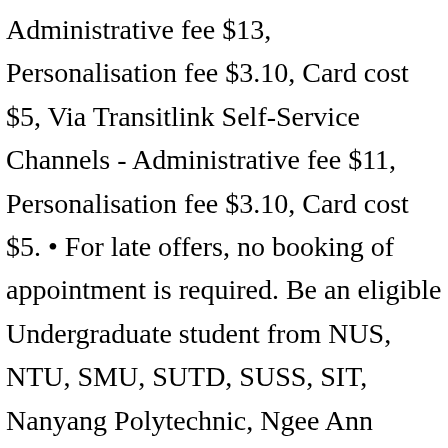Administrative fee $13, Personalisation fee $3.10, Card cost $5, Via Transitlink Self-Service Channels - Administrative fee $11, Personalisation fee $3.10, Card cost $5. • For late offers, no booking of appointment is required. Be an eligible Undergraduate student from NUS, NTU, SMU, SUTD, SUSS, SIT, Nanyang Polytechnic, Ngee Ann Polytechnic, Temasek Polytechnic, Singapore Polytechnic or Republic Polytechnic; Because this a student card, it is only catered for tertiary students. Students can save even more money by purchasing bulk travel in advance. Who can apply?